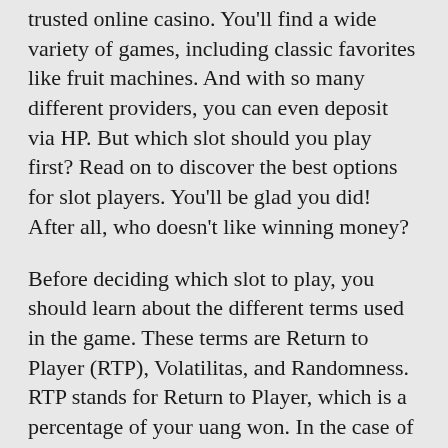trusted online casino. You'll find a wide variety of games, including classic favorites like fruit machines. And with so many different providers, you can even deposit via HP. But which slot should you play first? Read on to discover the best options for slot players. You'll be glad you did! After all, who doesn't like winning money?
Before deciding which slot to play, you should learn about the different terms used in the game. These terms are Return to Player (RTP), Volatilitas, and Randomness. RTP stands for Return to Player, which is a percentage of your uang won. In the case of slot games, RTPs usually range from 95% to 96%. Volatility is a measure of the game's difficulty level. The lower